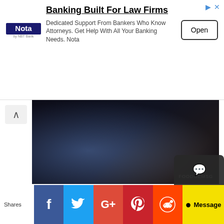[Figure (screenshot): Advertisement banner for Nota banking service for law firms with Open button]
[Figure (photo): Dark close-up food photo of a pecan tart with FOODGEMSG watermark]
We ended our meal with this pecan tart ($13). Freshly baked every morning, brown sugar-bourbon pecan filling is firmly encased into a flaky and buttery shortcrust pastry shell and sliced to order. Topped with boozy whisky gelato and drizzles of caramel and bourbon sauce. A good option for dessert before you roll out of this pizzeria.
I do see myself back there (often!) and do recommend that you pay a visit before this place gets busy, when the off...
[Figure (screenshot): Social media share bar with Facebook, Twitter, Google+, Pinterest, Reddit, and Message buttons]